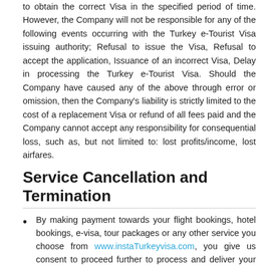to obtain the correct Visa in the specified period of time. However, the Company will not be responsible for any of the following events occurring with the Turkey e-Tourist Visa issuing authority; Refusal to issue the Visa, Refusal to accept the application, Issuance of an incorrect Visa, Delay in processing the Turkey e-Tourist Visa. Should the Company have caused any of the above through error or omission, then the Company's liability is strictly limited to the cost of a replacement Visa or refund of all fees paid and the Company cannot accept any responsibility for consequential loss, such as, but not limited to: lost profits/income, lost airfares.
Service Cancellation and Termination
By making payment towards your flight bookings, hotel bookings, e-visa, tour packages or any other service you choose from www.instaTurkeyvisa.com, you give us consent to proceed further to process and deliver your required services.
www.instaTurkeyvisa.com reserves the right to cancel payments or orders prior to the commencement of the delivery, without stating any reasons for the same.
You may cancel an order within a statutory period of 7 working days if your application is not processed or forwarded to the